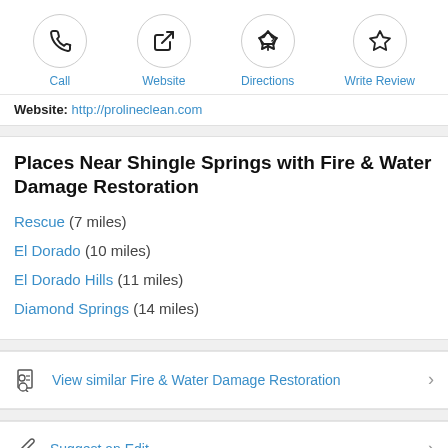[Figure (screenshot): Four action buttons: Call, Website, Directions, Write Review — each with a circular icon and blue label text]
Website: http://prolineclean.com
Places Near Shingle Springs with Fire & Water Damage Restoration
Rescue (7 miles)
El Dorado (10 miles)
El Dorado Hills (11 miles)
Diamond Springs (14 miles)
View similar Fire & Water Damage Restoration
Suggest an Edit